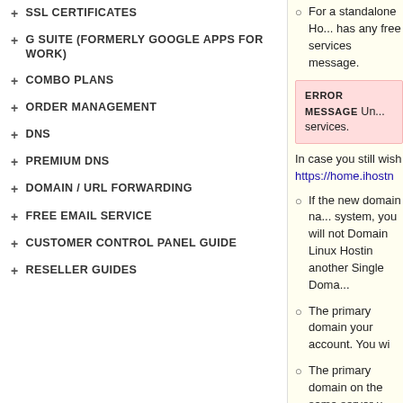SSL CERTIFICATES
G SUITE (FORMERLY GOOGLE APPS FOR WORK)
COMBO PLANS
ORDER MANAGEMENT
DNS
PREMIUM DNS
DOMAIN / URL FORWARDING
FREE EMAIL SERVICE
CUSTOMER CONTROL PANEL GUIDE
RESELLER GUIDES
For a standalone Ho... has any free services message.
ERROR MESSAGE Un... services.
In case you still wish https://home.ihostn
If the new domain na... system, you will not Domain Linux Hostin another Single Doma...
The primary domain your account. You wi
The primary domain on the same server u